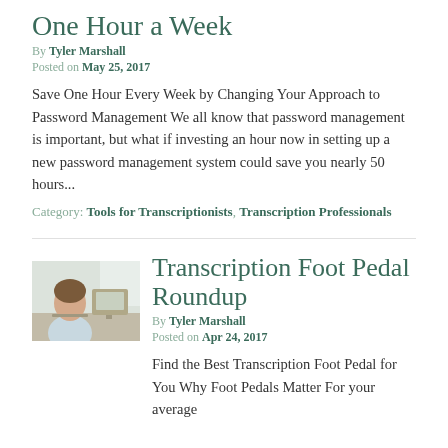One Hour a Week
By Tyler Marshall
Posted on May 25, 2017
Save One Hour Every Week by Changing Your Approach to Password Management We all know that password management is important, but what if investing an hour now in setting up a new password management system could save you nearly 50 hours...
Category: Tools for Transcriptionists, Transcription Professionals
[Figure (photo): Thumbnail photo of a woman working at a desk with a computer]
Transcription Foot Pedal Roundup
By Tyler Marshall
Posted on Apr 24, 2017
Find the Best Transcription Foot Pedal for You Why Foot Pedals Matter For your average